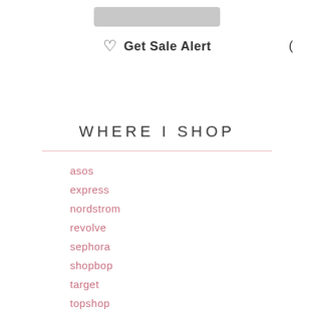[Figure (other): Blurred/redacted gray bar at top of page]
♡  Get Sale Alert
WHERE I SHOP
asos
express
nordstrom
revolve
sephora
shopbop
target
topshop